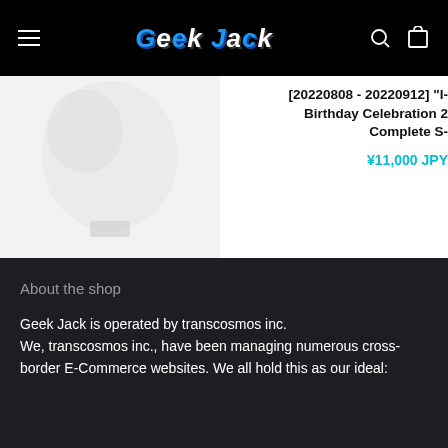Geek Jack
[Figure (photo): Acrylic stand product image on white/light gray background, partially cropped at top]
[20220808 - 20220912] "I- Birthday Celebration 2 Complete S-
¥11,000 JPY
[20211104 - ] "HACONECT 1st Generation Debut Commemorative Goods" Tanaka Ryuko Acrylic Stand
¥1,500 JPY
Inventory sales
About the shop
Geek Jack is operated by transcosmos inc.
We, transcosmos inc., have been managing numerous cross-border E-Commerce websites. We all hold this as our ideal: ...